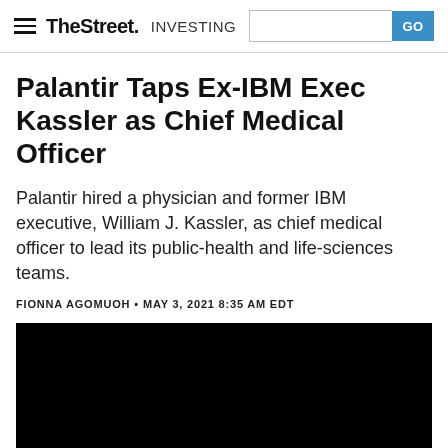TheStreet INVESTING GO
Palantir Taps Ex-IBM Exec Kassler as Chief Medical Officer
Palantir hired a physician and former IBM executive, William J. Kassler, as chief medical officer to lead its public-health and life-sciences teams.
FIONNA AGOMUOH • MAY 3, 2021 8:35 AM EDT
[Figure (photo): Black image placeholder for article photo]